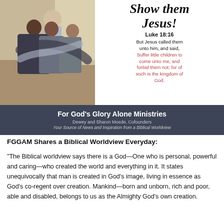[Figure (photo): People hugging in a group embrace, indoor setting]
[Figure (infographic): Text banner with italic script 'Show them Jesus!' and Bible verse Luke 18:16 with red and black text]
For God's Glory Alone Ministries
Dewey and Sharon Moede, Cofounders
Your Source of News and Inspiration from a Biblical Worldview
FGGAM Shares a Biblical Worldview Everyday:
“The Biblical worldview says there is a God—One who is personal, powerful and caring—who created the world and everything in it. It states unequivocally that man is created in God’s image, living in essence as God’s co-regent over creation. Mankind—born and unborn, rich and poor, able and disabled, belongs to us as the Almighty God’s own creation.